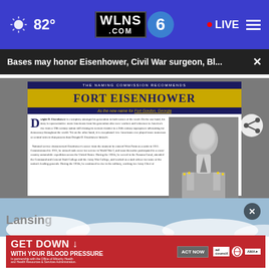WLNS 6 | 82° LIVE
Bases may honor Eisenhower, Civil War surgeon, Bl...
[Figure (screenshot): Fort Eisenhower naming commission recommendation sheet showing portrait of Dwight D. Eisenhower in military uniform with text about his career]
Lansing
[Figure (infographic): Red advertisement: GET DOWN WITH YOUR BLOOD PRESSURE - In partnership with the Office of Minority Health and Health Resources & Services Administration. ACT NOW button. Logos for ad council, American Heart Association, and AMA.]